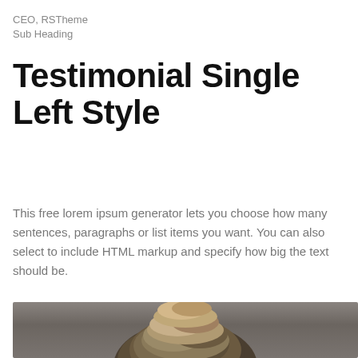CEO, RSTheme
Sub Heading
Testimonial Single Left Style
This free lorem ipsum generator lets you choose how many sentences, paragraphs or list items you want. You can also select to include HTML markup and specify how big the text should be.
[Figure (photo): Partial photo of a person showing the top of their head with dark blonde/brown hair, against a grey background. Only the top portion of the head is visible as the image is cropped.]